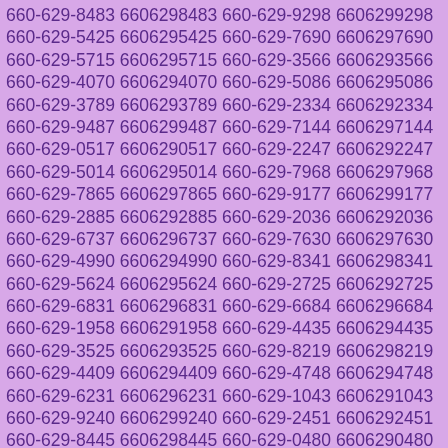660-629-8483 6606298483 660-629-9298 6606299298 660-629-5425 6606295425 660-629-7690 6606297690 660-629-5715 6606295715 660-629-3566 6606293566 660-629-4070 6606294070 660-629-5086 6606295086 660-629-3789 6606293789 660-629-2334 6606292334 660-629-9487 6606299487 660-629-7144 6606297144 660-629-0517 6606290517 660-629-2247 6606292247 660-629-5014 6606295014 660-629-7968 6606297968 660-629-7865 6606297865 660-629-9177 6606299177 660-629-2885 6606292885 660-629-2036 6606292036 660-629-6737 6606296737 660-629-7630 6606297630 660-629-4990 6606294990 660-629-8341 6606298341 660-629-5624 6606295624 660-629-2725 6606292725 660-629-6831 6606296831 660-629-6684 6606296684 660-629-1958 6606291958 660-629-4435 6606294435 660-629-3525 6606293525 660-629-8219 6606298219 660-629-4409 6606294409 660-629-4748 6606294748 660-629-6231 6606296231 660-629-1043 6606291043 660-629-9240 6606299240 660-629-2451 6606292451 660-629-8445 6606298445 660-629-0480 6606290480